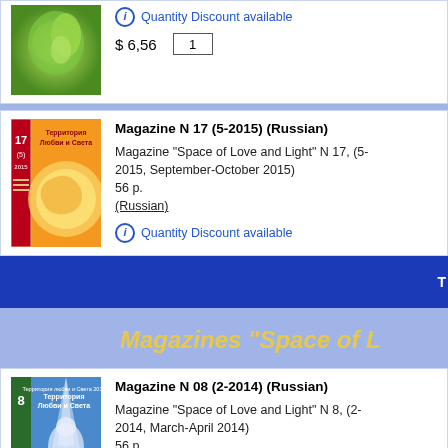[Figure (illustration): Green abstract illustrated magazine cover, partial view]
Quantity Discount available
$ 6,56
1
[Figure (illustration): Magazine N 17 cover with Russian text Территория Любви и Света, orange/yellow background]
Magazine N 17 (5-2015) (Russian)
Magazine "Space of Love and Light" N 17, (5-2015, September-October 2015)
56 p.
(Russian)
Quantity Discount available
Magazines "Space of L
[Figure (illustration): Magazine N 08 cover with Russian text Территория Любви и Света, figure in white light]
Magazine N 08 (2-2014) (Russian)
Magazine "Space of Love and Light" N 8, (2-2014, March-April 2014)
56 p.
(Russian)
Quantity Discount available
Magazines "S